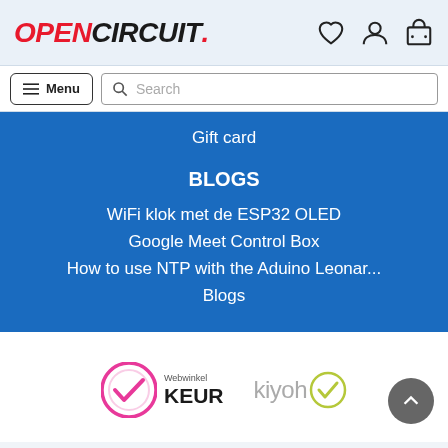OPENCIRCUIT
Gift card
BLOGS
WiFi klok met de ESP32 OLED
Google Meet Control Box
How to use NTP with the Aduino Leonar...
Blogs
[Figure (logo): Webwinkel KEUR certification badge]
[Figure (logo): Kiyoh review badge]